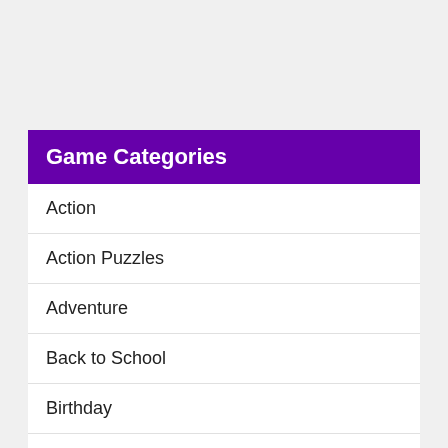Game Categories
Action
Action Puzzles
Adventure
Back to School
Birthday
Board
Card
Chinese New Year